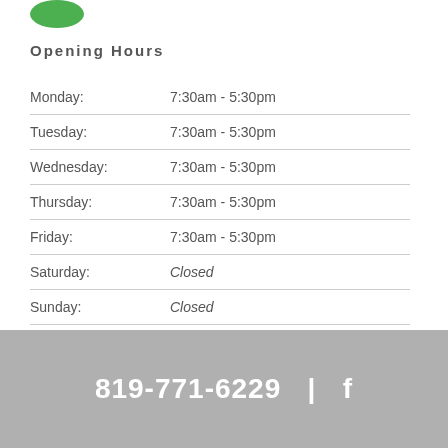[Figure (logo): Green circular logo element at top left]
Opening Hours
| Day | Hours |
| --- | --- |
| Monday: | 7:30am - 5:30pm |
| Tuesday: | 7:30am - 5:30pm |
| Wednesday: | 7:30am - 5:30pm |
| Thursday: | 7:30am - 5:30pm |
| Friday: | 7:30am - 5:30pm |
| Saturday: | Closed |
| Sunday: | Closed |
819-771-6229  |  f